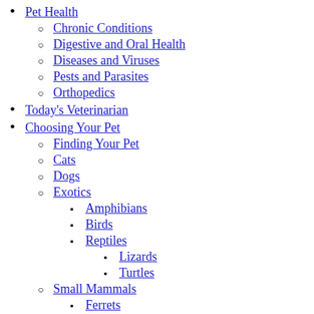Pet Health
Chronic Conditions
Digestive and Oral Health
Diseases and Viruses
Pests and Parasites
Orthopedics
Today's Veterinarian
Choosing Your Pet
Finding Your Pet
Cats
Dogs
Exotics
Amphibians
Birds
Reptiles
Lizards
Turtles
Small Mammals
Ferrets
Rabbits
Domesticated Animals
Prairie Dogs
Pocket Pets
Chinchillas
Guinea Pigs